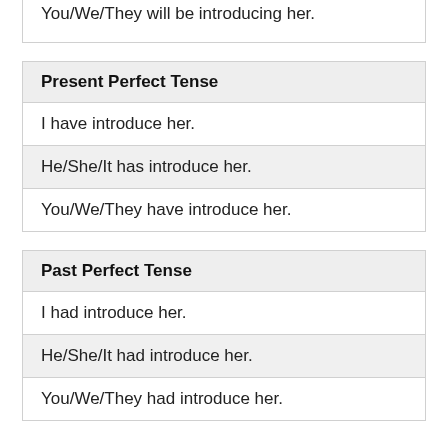You/We/They will be introducing her.
Present Perfect Tense
I have introduce her.
He/She/It has introduce her.
You/We/They have introduce her.
Past Perfect Tense
I had introduce her.
He/She/It had introduce her.
You/We/They had introduce her.